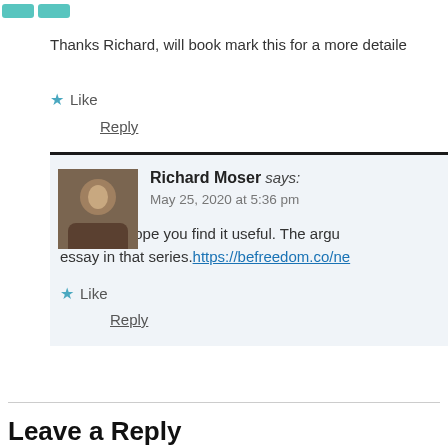[Figure (illustration): Teal avatar icon at top left]
Thanks Richard, will book mark this for a more detaile
★ Like
Reply
Richard Moser says:
May 25, 2020 at 5:36 pm
Thanks, I hope you find it useful. The argu essay in that series.https://befreedom.co/ne
★ Like
Reply
Leave a Reply